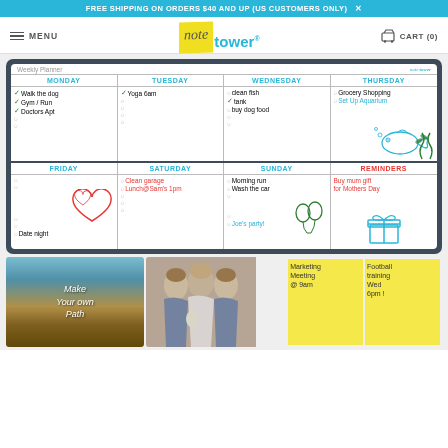FREE SHIPPING ON ORDERS $40 AND UP (US CUSTOMERS ONLY)  X
[Figure (screenshot): Note Tower website navigation bar with hamburger menu, MENU text, note tower logo with yellow sticky note icon, and cart (0) icon]
[Figure (photo): Weekly planner whiteboard showing days Monday through Sunday with handwritten tasks, doodles of fish, hearts, balloons and gift box, plus sticky notes at bottom with marketing meeting and football training reminders]